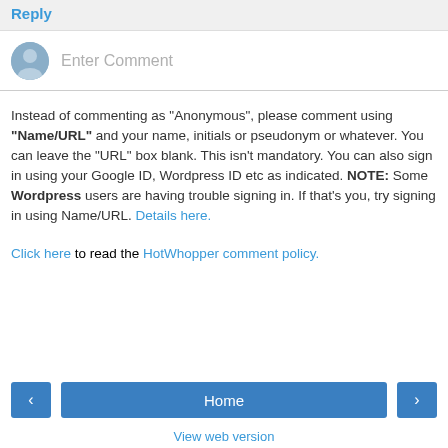Reply
Enter Comment
Instead of commenting as "Anonymous", please comment using "Name/URL" and your name, initials or pseudonym or whatever. You can leave the "URL" box blank. This isn't mandatory. You can also sign in using your Google ID, Wordpress ID etc as indicated. NOTE: Some Wordpress users are having trouble signing in. If that's you, try signing in using Name/URL. Details here.
Click here to read the HotWhopper comment policy.
Home
View web version